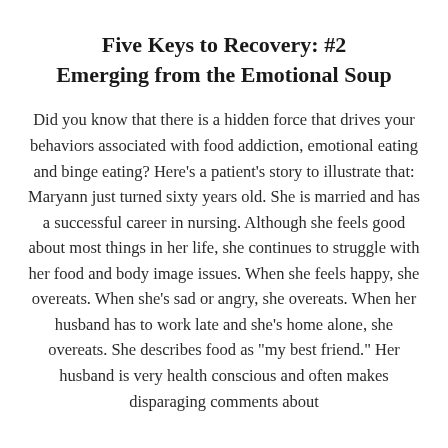Five Keys to Recovery: #2 Emerging from the Emotional Soup
Did you know that there is a hidden force that drives your behaviors associated with food addiction, emotional eating and binge eating? Here's a patient's story to illustrate that: Maryann just turned sixty years old. She is married and has a successful career in nursing. Although she feels good about most things in her life, she continues to struggle with her food and body image issues. When she feels happy, she overeats. When she's sad or angry, she overeats. When her husband has to work late and she's home alone, she overeats. She describes food as "my best friend." Her husband is very health conscious and often makes disparaging comments about